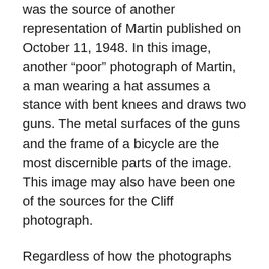was the source of another representation of Martin published on October 11, 1948. In this image, another “poor” photograph of Martin, a man wearing a hat assumes a stance with bent knees and draws two guns. The metal surfaces of the guns and the frame of a bicycle are the most discernible parts of the image. This image may also have been one of the sources for the Cliff photograph.
Regardless of how the photographs came to be published in the newspapers, I want to linger on the description in Public Opinion, which stated that Martin was “practicing,” when the photographer happened upon him. That the verb is bracketed by quotation marks begs the question, if the images were indeed taken before the manhunt, whom did Martin imagine as the